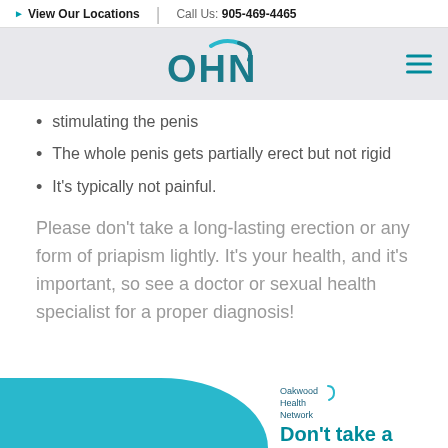View Our Locations | Call Us: 905-469-4465
[Figure (logo): OHN (Oakwood Health Network) logo with teal arc and hamburger menu icon]
stimulating the penis
The whole penis gets partially erect but not rigid
It's typically not painful.
Please don't take a long-lasting erection or any form of priapism lightly. It's your health, and it's important, so see a doctor or sexual health specialist for a proper diagnosis!
[Figure (infographic): Bottom banner with teal background on left side showing Oakwood Health Network logo and 'Don't take a' text in teal on the right]